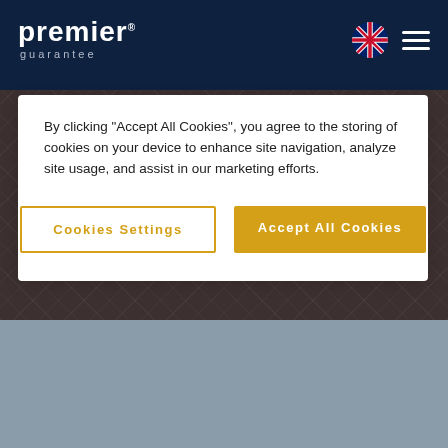[Figure (logo): Premier Guarantee logo in white text on dark navy navbar]
[Figure (screenshot): Background showing dark textured diamond-pattern roofing material and grey lower section]
By clicking "Accept All Cookies", you agree to the storing of cookies on your device to enhance site navigation, analyze site usage, and assist in our marketing efforts.
Cookies Settings
Accept All Cookies